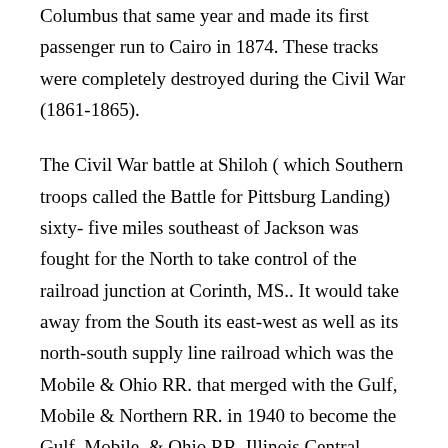Columbus that same year and made its first passenger run to Cairo in 1874. These tracks were completely destroyed during the Civil War (1861-1865).
The Civil War battle at Shiloh ( which Southern troops called the Battle for Pittsburg Landing) sixty- five miles southeast of Jackson was fought for the North to take control of the railroad junction at Corinth, MS.. It would take away from the South its east-west as well as its north-south supply line railroad which was the Mobile & Ohio RR. that merged with the Gulf, Mobile & Northern RR. in 1940 to become the Gulf, Mobile, & Ohio RR. Illinois Central Railroad
The second railroad to enter Jackson was the Mississippi Central & Tennessee. A special charter was obtained by ...